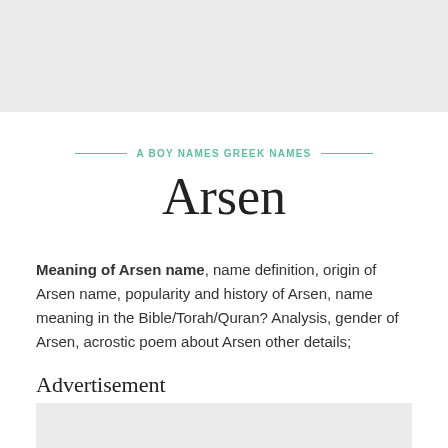A BOY NAMES GREEK NAMES
Arsen
Meaning of Arsen name, name definition, origin of Arsen name, popularity and history of Arsen, name meaning in the Bible/Torah/Quran? Analysis, gender of Arsen, acrostic poem about Arsen other details;
Advertisement